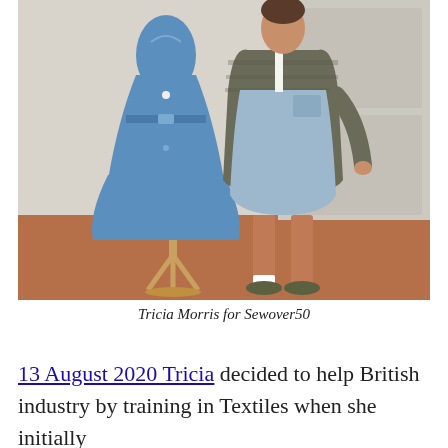[Figure (photo): Two women wearing blue denim outfits. On the left is a blue dress on a mannequin stand, and on the right is a person wearing a light denim pinafore skirt with a tweed jacket.]
Tricia Morris for Sewover50
13 August 2020 Tricia decided to help British industry by training in Textiles when she initially